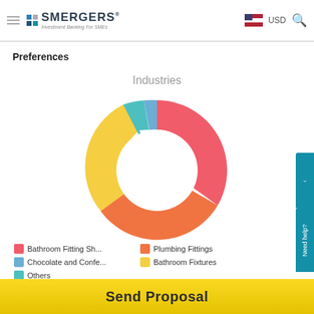SMERGERS® Investment Banking For SMEs — USD
Preferences
[Figure (donut-chart): Industries]
Bathroom Fitting Sh...   Plumbing Fittings   Chocolate and Confe...   Bathroom Fixtures   Others
Send Proposal